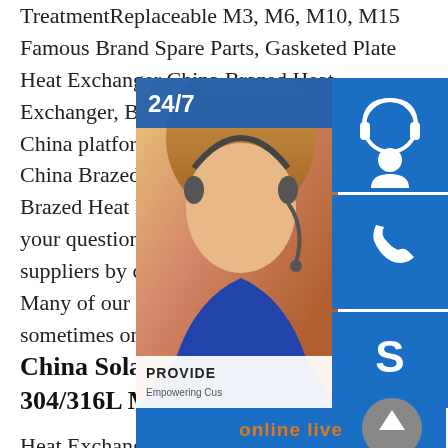TreatmentReplaceable M3, M6, M10, M15 Famous Brand Spare Parts, Gasketed Plate Heat Exchanger China Brazed Heat Exchanger, Brazed Heat Exchanger Made-in-China platform for global buyers to source China Brazed Heat Exchanger products and Brazed Heat Exchanger manufacturers. You can send your questions like minimum quantity to our suppliers by clicking the red button Contact Now. Many of our suppliers products and sometimes only 1 is needed.
China Solar Hot Water Heater with 304/316L Material
Heat Exchanger, Plate Heat Exchanger, Plate Type Heat Exchanger manufacturer / supplier in China, offering Solar Hot Water Heater with 304/316L Material, ium and Stainless Steel Heat
[Figure (illustration): Customer service overlay widget with a female customer service agent photo, 24/7 label, headset icon button, phone icon button, Skype icon button, PROVIDE Empowering Customers text bar, and online live button]